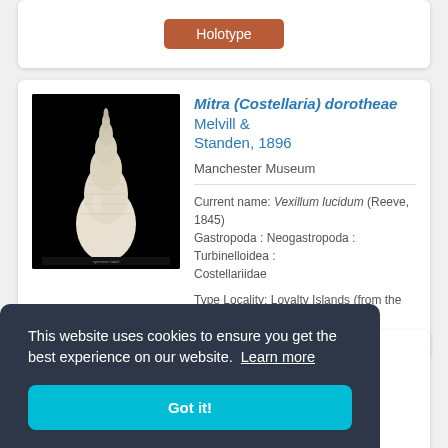[Figure (other): Holotype button - terracotta/brown colored button labeled Holotype]
[Figure (photo): White conical gastropod shell (Mitra/Costellaria) photographed against black background]
Mitra (Costellaria) dorotheae Melvill & Standen, 1896
Manchester Museum
Current name: Vexillum lucidum (Reeve, 1845) Gastropoda : Neogastropoda : Turbinelloidea : Costellariidae
Type Locality: Loyalty Islands (from the title) [New Caledonia]
e, 1925
1925)
Gastropoda : Sorbeoconcha : Pachyénidae
This website uses cookies to ensure you get the best experience on our website. Learn more
Got it!